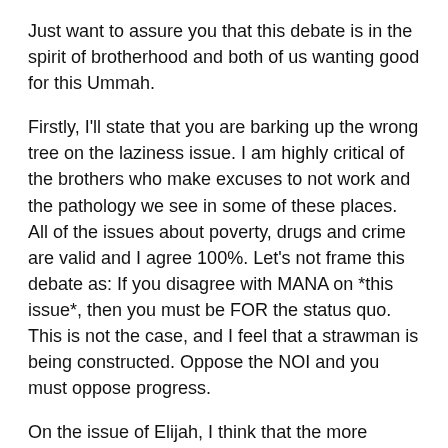Just want to assure you that this debate is in the spirit of brotherhood and both of us wanting good for this Ummah.
Firstly, I'll state that you are barking up the wrong tree on the laziness issue. I am highly critical of the brothers who make excuses to not work and the pathology we see in some of these places. All of the issues about poverty, drugs and crime are valid and I agree 100%. Let's not frame this debate as: If you disagree with MANA on *this issue*, then you must be FOR the status quo. This is not the case, and I feel that a strawman is being constructed. Oppose the NOI and you must oppose progress.
On the issue of Elijah, I think that the more accurate analogy is to look at Musaylamah the Liar (as named by the Prophet, pbuh, himself). I do not want to see us go to a day when we are